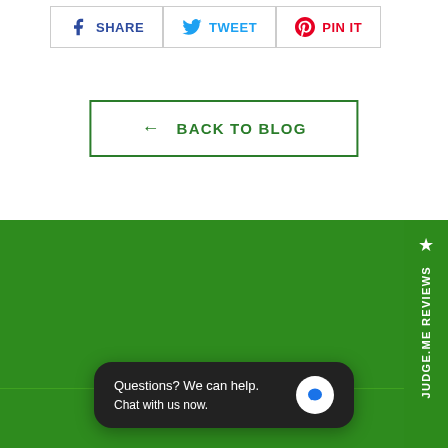[Figure (other): Social share buttons: Facebook SHARE, Twitter TWEET, Pinterest PIN IT]
← BACK TO BLOG
[Figure (other): Green footer section with JUDGE.ME REVIEWS vertical sidebar]
Questions? We can help. Chat with us now.